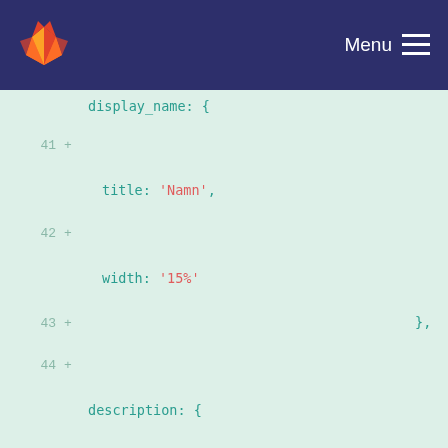GitLab navbar with Menu
display_name: {
  41 +   title: 'Namn',
  42 +   width: '15%'
  43 +                                    },
  44 +
    description: {
  45 +   title: 'Beskrivning',
  46 +   width: '30%'
  47 +                                    },
  48 +
    family_type_id: {
  49 +   title: 'Familjetyp',
  50 +   options:
    '/cmdb/api/v1/options/family_type',